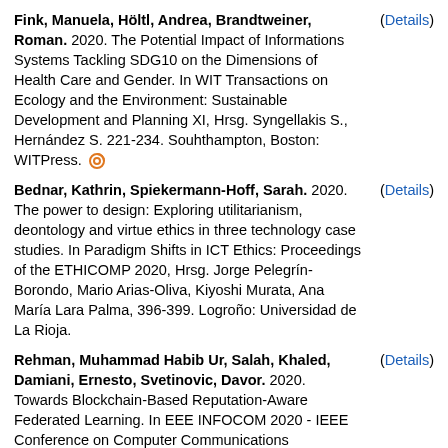Fink, Manuela, Höltl, Andrea, Brandtweiner, Roman. 2020. The Potential Impact of Informations Systems Tackling SDG10 on the Dimensions of Health Care and Gender. In WIT Transactions on Ecology and the Environment: Sustainable Development and Planning XI, Hrsg. Syngellakis S., Hernández S. 221-234. Souhthampton, Boston: WITPress. [open access icon] (Details)
Bednar, Kathrin, Spiekermann-Hoff, Sarah. 2020. The power to design: Exploring utilitarianism, deontology and virtue ethics in three technology case studies. In Paradigm Shifts in ICT Ethics: Proceedings of the ETHICOMP 2020, Hrsg. Jorge Pelegrín-Borondo, Mario Arias-Oliva, Kiyoshi Murata, Ana María Lara Palma, 396-399. Logroño: Universidad de La Rioja. (Details)
Rehman, Muhammad Habib Ur, Salah, Khaled, Damiani, Ernesto, Svetinovic, Davor. 2020. Towards Blockchain-Based Reputation-Aware Federated Learning. In EEE INFOCOM 2020 - IEEE Conference on Computer Communications Workshops (INFOCOM WKSHPS), Hrsg. INFOCOM WKSHPS, 183-188. . None. [open access icon] (Details)